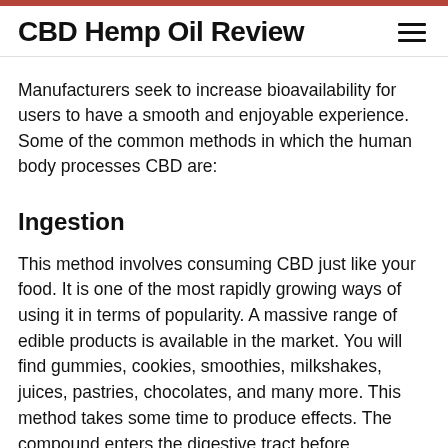CBD Hemp Oil Review
Manufacturers seek to increase bioavailability for users to have a smooth and enjoyable experience. Some of the common methods in which the human body processes CBD are:
Ingestion
This method involves consuming CBD just like your food. It is one of the most rapidly growing ways of using it in terms of popularity. A massive range of edible products is available in the market. You will find gummies, cookies, smoothies, milkshakes, juices, pastries, chocolates, and many more. This method takes some time to produce effects. The compound enters the digestive tract before